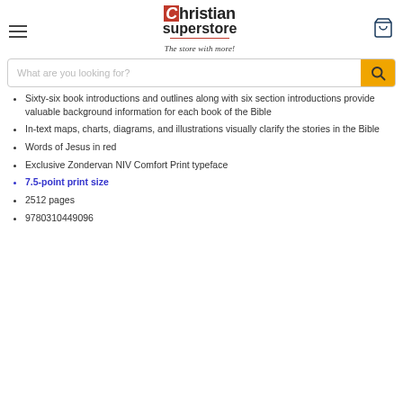Christian Superstore — The store with more!
Sixty-six book introductions and outlines along with six section introductions provide valuable background information for each book of the Bible
In-text maps, charts, diagrams, and illustrations visually clarify the stories in the Bible
Words of Jesus in red
Exclusive Zondervan NIV Comfort Print typeface
7.5-point print size
2512 pages
9780310449096